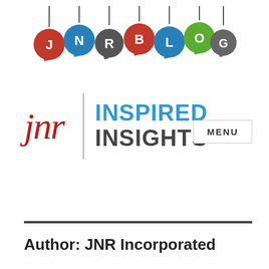[Figure (logo): JNR Blog banner: seven speech bubble tags hanging on strings spelling out J N R B L O G in red, blue, grey, red, blue, green, grey colors with white letters]
[Figure (logo): JNR Inspired Insights logo: jnr in red cursive script, vertical grey divider line, INSPIRED in blue bold, INSIGHTS in dark grey bold, MENU button on right]
Author: JNR Incorporated